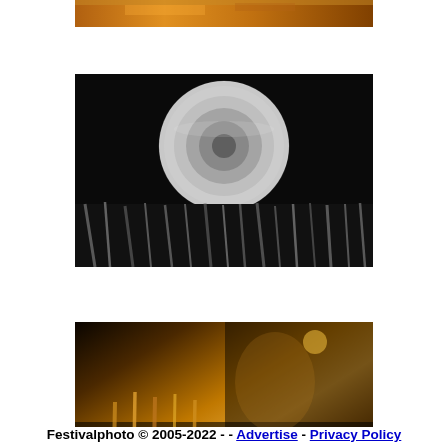[Figure (photo): Partially visible concert photo at top, warm orange/golden tones, cropped.]
[Figure (photo): Black and white photo of large glowing sphere/disco ball above concert crowd with raised hands.]
[Figure (photo): Color concert photo showing performer and crowd with raised arms lit in warm golden/orange tones.]
[Figure (photo): Black and white photo of a female guitarist/performer with microphone and guitar on stage.]
Festivalphoto © 2005-2022 - - Advertise - Privacy Policy